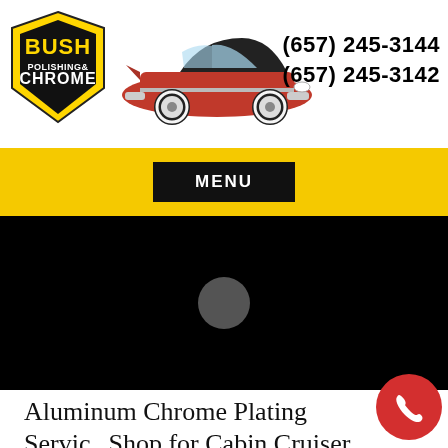[Figure (logo): Bush Polishing & Chrome logo with yellow and black text badge]
[Figure (illustration): Classic red convertible car with black top, white wall tires]
(657) 245-3144
(657) 245-3142
[Figure (other): Yellow navigation bar with black MENU button]
[Figure (other): Black video player area with gray circular play button]
Aluminum Chrome Plating Service Shop for Cabin Cruiser near Ladera Ranch Drive